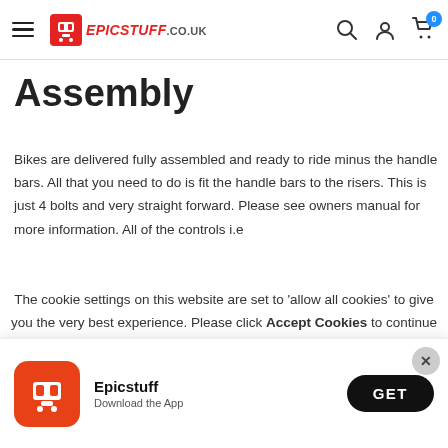Epicstuff.co.uk website header with hamburger menu, logo, search, account, and cart icons
Assembly
Bikes are delivered fully assembled and ready to ride minus the handle bars. All that you need to do is fit the handle bars to the risers. This is just 4 bolts and very straight forward. Please see owners manual for more information. All of the controls i.e
The cookie settings on this website are set to 'allow all cookies' to give you the very best experience. Please click Accept Cookies to continue to use the site.
[Figure (screenshot): App install banner for Epicstuff with orange icon, app name, and GET button]